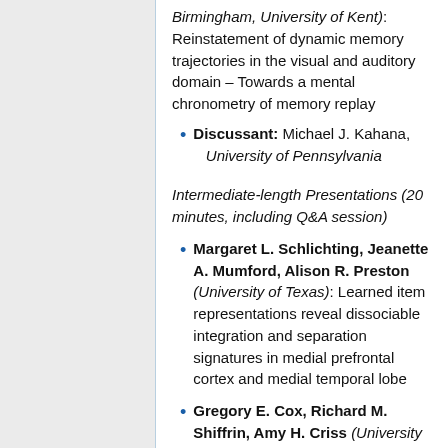Birmingham, University of Kent): Reinstatement of dynamic memory trajectories in the visual and auditory domain – Towards a mental chronometry of memory replay
Discussant: Michael J. Kahana, University of Pennsylvania
Intermediate-length Presentations (20 minutes, including Q&A session)
Margaret L. Schlichting, Jeanette A. Mumford, Alison R. Preston (University of Texas): Learned item representations reveal dissociable integration and separation signatures in medial prefrontal cortex and medial temporal lobe
Gregory E. Cox, Richard M. Shiffrin, Amy H. Criss (University of